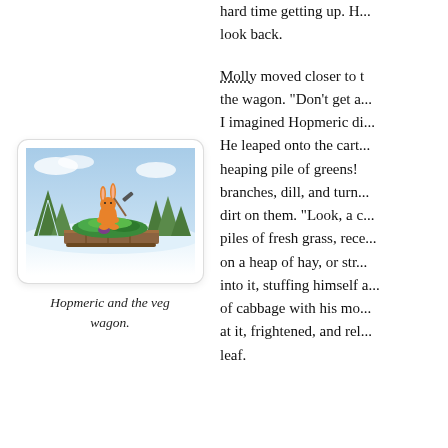hard time getting up. H... look back.
[Figure (illustration): Illustration of Hopmeric (an orange rabbit) standing on a wooden vegetable wagon loaded with green vegetables, with a pickaxe, set against a snowy forest background with blue sky.]
Hopmeric and the veg wagon.
Molly moved closer to the wagon. "Don't get a... I imagined Hopmeric di... He leaped onto the cart... heaping pile of greens! branches, dill, and turn... dirt on them. "Look, a c... piles of fresh grass, rece... on a heap of hay, or str... into it, stuffing himself a... of cabbage with his mo... at it, frightened, and rel... leaf.